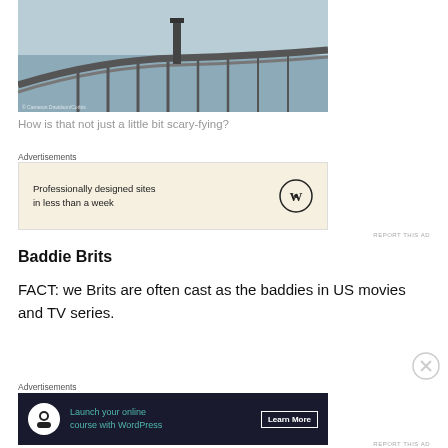[Figure (photo): Aerial photograph of a long curved bridge over water, black and white/muted tones. Watermark: © Cameron Davidson/Corbis]
How is that not just a little bit scary-fying?
Advertisements
[Figure (other): Advertisement banner: 'Professionally designed sites in less than a week' with WordPress logo. Cream/beige background.]
REPORT THIS AD
Baddie Brits
FACT: we Brits are often cast as the baddies in US movies and TV series.
Advertisements
[Figure (other): Advertisement banner with dark background: 'Launch your online course with WordPress' with Learn More button and WordPress icon.]
REPORT THIS AD